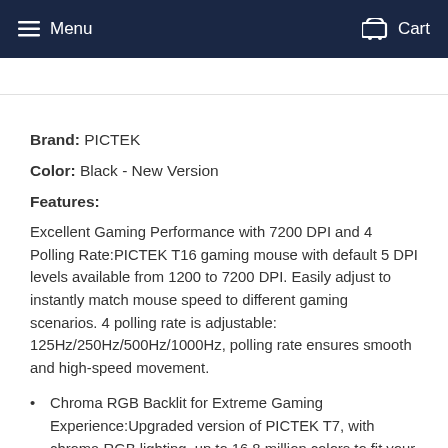Menu | Cart
Brand: PICTEK
Color: Black - New Version
Features:
Excellent Gaming Performance with 7200 DPI and 4 Polling Rate:PICTEK T16 gaming mouse with default 5 DPI levels available from 1200 to 7200 DPI. Easily adjust to instantly match mouse speed to different gaming scenarios. 4 polling rate is adjustable: 125Hz/250Hz/500Hz/1000Hz, polling rate ensures smooth and high-speed movement.
Chroma RGB Backlit for Extreme Gaming Experience:Upgraded version of PICTEK T7, with chroma RGB lighting, up to 16.8 million colors to fit your mood.